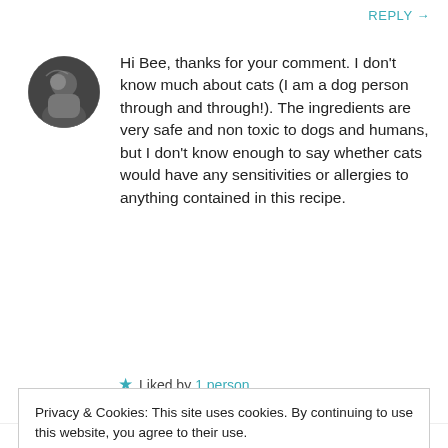REPLY →
[Figure (photo): Circular avatar photo of a person, dark toned image]
Hi Bee, thanks for your comment. I don't know much about cats (I am a dog person through and through!). The ingredients are very safe and non toxic to dogs and humans, but I don't know enough to say whether cats would have any sensitivities or allergies to anything contained in this recipe.
★ Liked by 1 person
Privacy & Cookies: This site uses cookies. By continuing to use this website, you agree to their use.
To find out more, including how to control cookies, see here: Cookie Policy
Close and accept
don't believe me. Essential oils